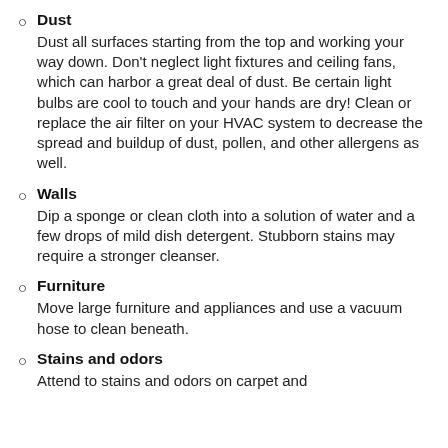Dust
Dust all surfaces starting from the top and working your way down. Don't neglect light fixtures and ceiling fans, which can harbor a great deal of dust. Be certain light bulbs are cool to touch and your hands are dry! Clean or replace the air filter on your HVAC system to decrease the spread and buildup of dust, pollen, and other allergens as well.
Walls
Dip a sponge or clean cloth into a solution of water and a few drops of mild dish detergent. Stubborn stains may require a stronger cleanser.
Furniture
Move large furniture and appliances and use a vacuum hose to clean beneath.
Stains and odors
Attend to stains and odors on carpet and